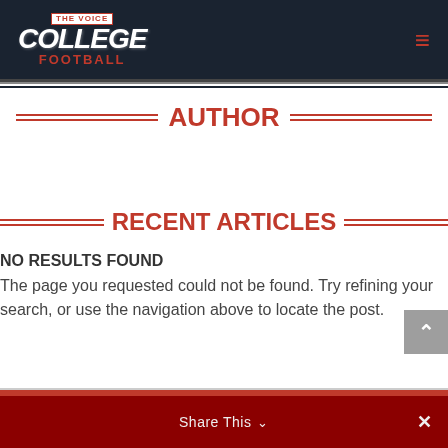The Voice of College Football
AUTHOR
RECENT ARTICLES
NO RESULTS FOUND
The page you requested could not be found. Try refining your search, or use the navigation above to locate the post.
Share This